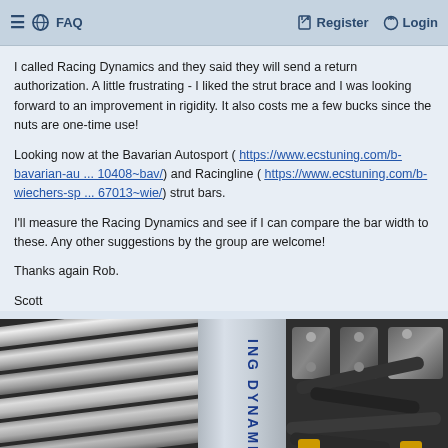≡ 🌐 FAQ   Register   Login
I called Racing Dynamics and they said they will send a return authorization. A little frustrating - I liked the strut brace and I was looking forward to an improvement in rigidity. It also costs me a few bucks since the nuts are one-time use!
Looking now at the Bavarian Autosport ( https://www.ecstuning.com/b-bavarian-au ... 10408~bav/) and Racingline ( https://www.ecstuning.com/b-wiechers-sp ... 67013~wie/) strut bars.
I'll measure the Racing Dynamics and see if I can compare the bar width to these. Any other suggestions by the group are welcome!
Thanks again Rob.
Scott
[Figure (photo): Close-up photo of a car engine bay showing the Racing Dynamics strut bar, with metal tubes on the left side and engine components including hoses and yellow caps on the right side. The center shows a label reading 'ING DYNAMI'.]